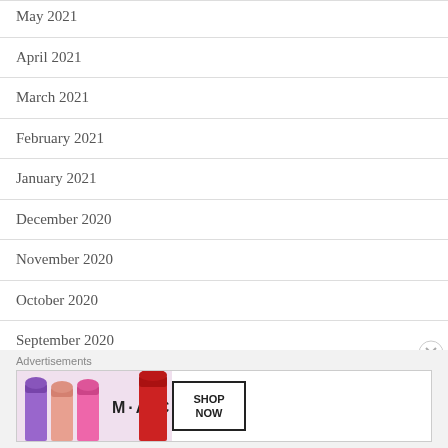May 2021
April 2021
March 2021
February 2021
January 2021
December 2020
November 2020
October 2020
September 2020
August 2020
July 2020
[Figure (other): MAC cosmetics advertisement banner showing lipsticks in purple, pink, and red colors with M·A·C logo and SHOP NOW button]
Advertisements